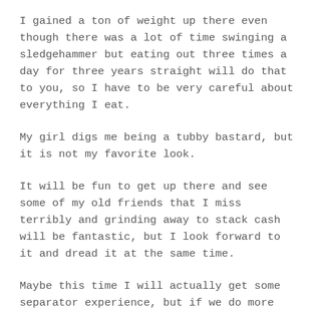I gained a ton of weight up there even though there was a lot of time swinging a sledgehammer but eating out three times a day for three years straight will do that to you, so I have to be very careful about everything I eat.
My girl digs me being a tubby bastard, but it is not my favorite look.
It will be fun to get up there and see some of my old friends that I miss terribly and grinding away to stack cash will be fantastic, but I look forward to it and dread it at the same time.
Maybe this time I will actually get some separator experience, but if we do more than screen outs and things of that nature, I will have a limited amount of